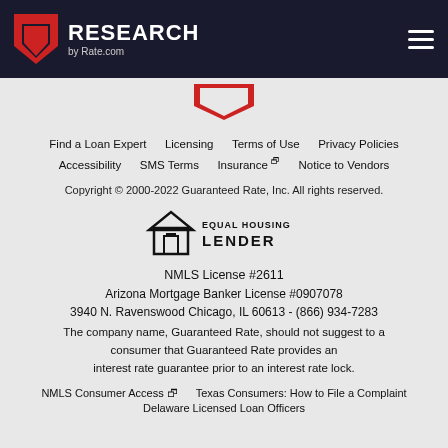RESEARCH by Rate.com
[Figure (logo): Red downward chevron/arrow logo for Rate.com Research]
Find a Loan Expert | Licensing | Terms of Use | Privacy Policies
Accessibility | SMS Terms | Insurance [external link] | Notice to Vendors
Copyright © 2000-2022 Guaranteed Rate, Inc. All rights reserved.
[Figure (logo): Equal Housing Lender logo with house and equal sign icon]
NMLS License #2611
Arizona Mortgage Banker License #0907078
3940 N. Ravenswood Chicago, IL 60613 - (866) 934-7283
The company name, Guaranteed Rate, should not suggest to a consumer that Guaranteed Rate provides an interest rate guarantee prior to an interest rate lock.
NMLS Consumer Access [external link]   Texas Consumers: How to File a Complaint
Delaware Licensed Loan Officers